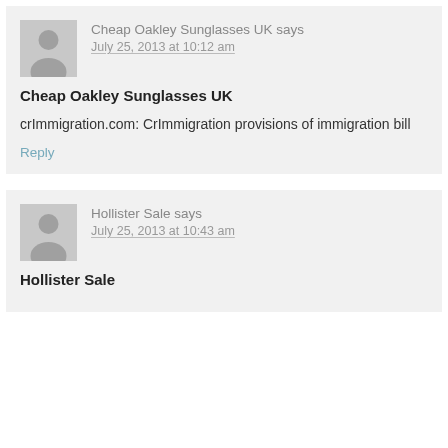Cheap Oakley Sunglasses UK says July 25, 2013 at 10:12 am
Cheap Oakley Sunglasses UK
crImmigration.com: CrImmigration provisions of immigration bill
Reply
Hollister Sale says July 25, 2013 at 10:43 am
Hollister Sale